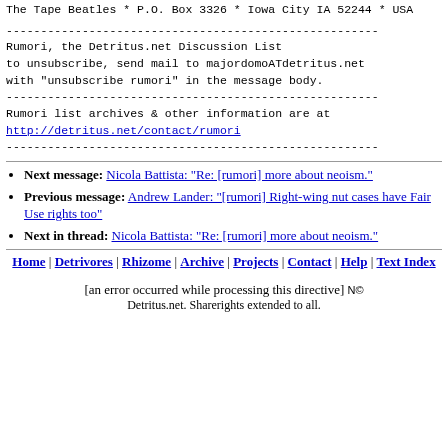The Tape Beatles * P.O. Box 3326 * Iowa City IA 52244 * USA
------------------------------------------------------
Rumori, the Detritus.net Discussion List
to unsubscribe, send mail to majordomoATdetritus.net
with "unsubscribe rumori" in the message body.
------------------------------------------------------
Rumori list archives & other information are at
http://detritus.net/contact/rumori
------------------------------------------------------
Next message: Nicola Battista: "Re: [rumori] more about neoism."
Previous message: Andrew Lander: "[rumori] Right-wing nut cases have Fair Use rights too"
Next in thread: Nicola Battista: "Re: [rumori] more about neoism."
Home | Detrivores | Rhizome | Archive | Projects | Contact | Help | Text Index
[an error occurred while processing this directive] N© Detritus.net. Sharerights extended to all.